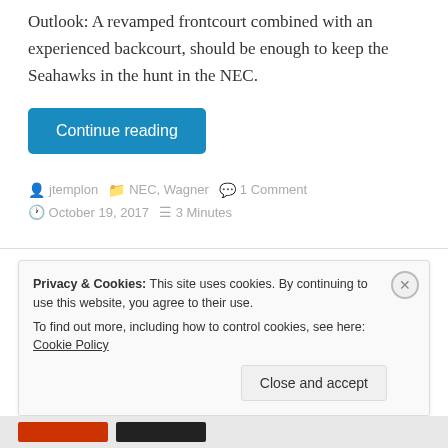Outlook: A revamped frontcourt combined with an experienced backcourt, should be enough to keep the Seahawks in the hunt in the NEC.
Continue reading
jtemplon   NEC, Wagner   1 Comment   October 19, 2017   3 Minutes
Privacy & Cookies: This site uses cookies. By continuing to use this website, you agree to their use.
To find out more, including how to control cookies, see here: Cookie Policy
Close and accept